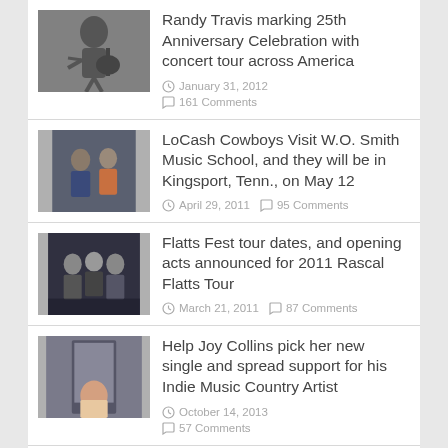Randy Travis marking 25th Anniversary Celebration with concert tour across America — January 31, 2012 · 161 Comments
LoCash Cowboys Visit W.O. Smith Music School, and they will be in Kingsport, Tenn., on May 12 — April 29, 2011 · 95 Comments
Flatts Fest tour dates, and opening acts announced for 2011 Rascal Flatts Tour — March 21, 2011 · 87 Comments
Help Joy Collins pick her new single and spread support for his Indie Music Country Artist — October 14, 2013 · 57 Comments
Blake and Miranda are engaged … and a look back at Blake's first marriage